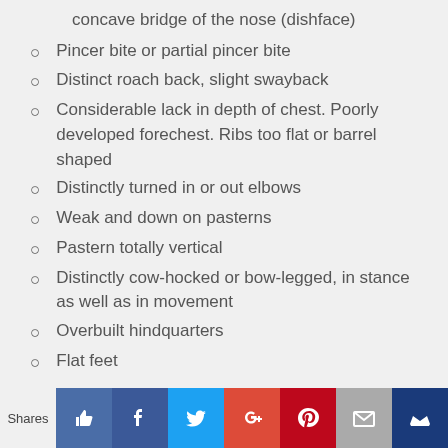concave bridge of the nose (dishface)
Pincer bite or partial pincer bite
Distinct roach back, slight swayback
Considerable lack in depth of chest. Poorly developed forechest. Ribs too flat or barrel shaped
Distinctly turned in or out elbows
Weak and down on pasterns
Pastern totally vertical
Distinctly cow-hocked or bow-legged, in stance as well as in movement
Overbuilt hindquarters
Flat feet
Shares [social buttons: thumbs-up, Facebook, Twitter, Google+, Pinterest, Mail, Crown]